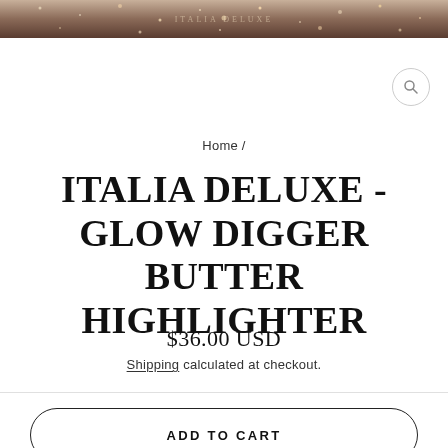[Figure (photo): Dark glittery product packaging banner at the top of the page with gold/bronze sparkle texture and faint brand text in center]
Home /
ITALIA DELUXE - GLOW DIGGER BUTTER HIGHLIGHTER
$36.00 USD
Shipping calculated at checkout.
ADD TO CART